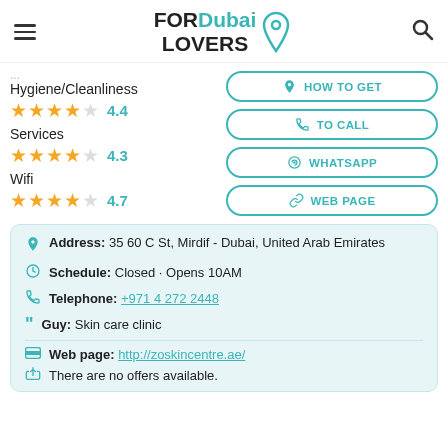FOR Dubai LOVERS
Hygiene/Cleanliness ★★★★ 4.4
Services ★★★★ 4.3
Wifi ★★★★ 4.7
HOW TO GET
TO CALL
WHATSAPP
WEB PAGE
Address: 35 60 C St, Mirdif - Dubai, United Arab Emirates
Schedule: Closed · Opens 10AM
Telephone: +971 4 272 2448
Guy: Skin care clinic
Web page: http://zoskincentre.ae/
There are no offers available.